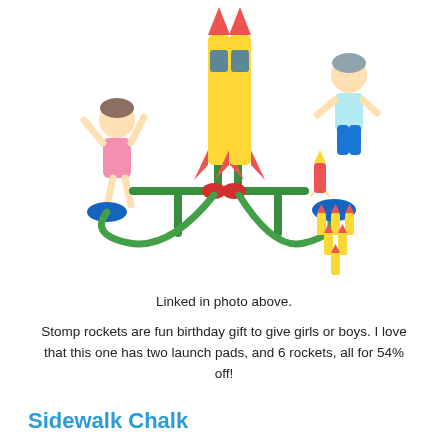[Figure (photo): Product photo of a stomp rocket toy set with two large yellow rockets on a stand with green tubing and two blue stomp pads, two children playing with it, and six smaller rockets displayed on the right side.]
Linked in photo above.
Stomp rockets are fun birthday gift to give girls or boys. I love that this one has two launch pads, and 6 rockets, all for 54% off!
Sidewalk Chalk